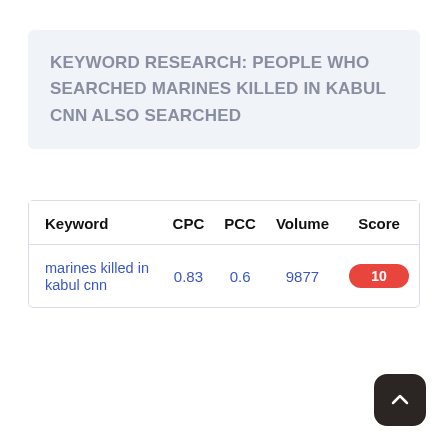KEYWORD RESEARCH: PEOPLE WHO SEARCHED MARINES KILLED IN KABUL CNN ALSO SEARCHED
| Keyword | CPC | PCC | Volume | Score |
| --- | --- | --- | --- | --- |
| marines killed in kabul cnn | 0.83 | 0.6 | 9877 | 10 |